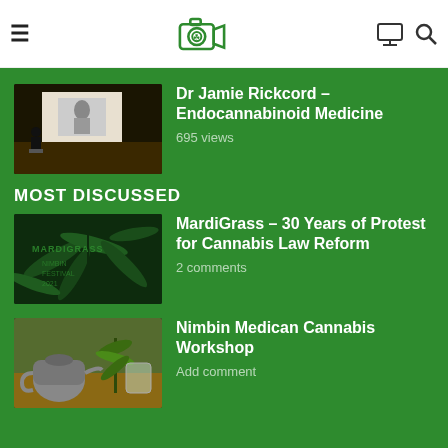Cannabis Video Site header with hamburger menu, cannabis camera logo, monitor icon, and search icon
[Figure (screenshot): Partial top video thumbnail clipped at top of green area]
[Figure (photo): Video thumbnail: person presenting at screen on stage, dark auditorium]
Dr Jamie Rickcord – Endocannabinoid Medicine
695 views
MOST DISCUSSED
[Figure (photo): MardiGrass video thumbnail with cannabis leaves and text overlay]
MardiGrass – 30 Years of Protest for Cannabis Law Reform
2 comments
[Figure (photo): Nimbin Medican Cannabis Workshop video thumbnail showing table with teapot and cannabis plants]
Nimbin Medican Cannabis Workshop
Add comment